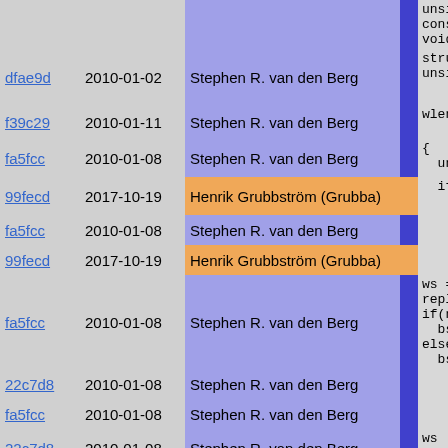| Hash | Date | Author | Bar | Code |
| --- | --- | --- | --- | --- |
|  |  |  |  | unsigned ...
const void
void *wste |
| dfae9d | 2010-01-02 | Stephen R. van den Berg | | | struct str
unsigned t |
| f39c29 | 2010-01-11 | Stephen R. van den Berg | | | wlen = rep |
| fa5fcc | 2010-01-08 | Stephen R. van den Berg | | | {
  unsigned |
| 99fecd | 2017-10-19 | Henrik Grubbström (Grubba) | | |   if(white
    if(!(w |
| fa5fcc | 2010-01-08 | Stephen R. van den Berg | | | REF_ |
| 99fecd | 2017-10-19 | Henrik Grubbström (Grubba) | | | } else |
| fa5fcc | 2010-01-08 | Stephen R. van den Berg | | | ws =
repl
if(n
  bs
else
  bs |
| 22c7d8 | 2010-01-08 | Stephen R. van den Berg | | | if(w |
| fa5fcc | 2010-01-08 | Stephen R. van den Berg | | | PO |
| 22c7d8 | 2010-01-08 | Stephen R. van den Berg | | | ws
po |